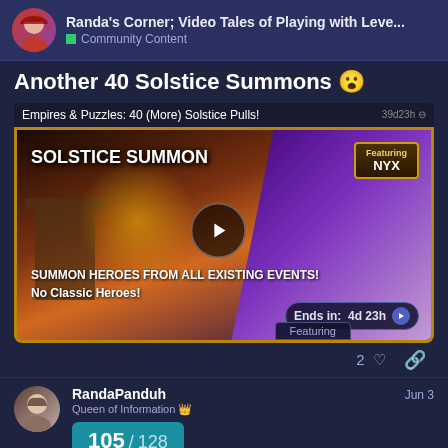Randa's Corner; Video Tales of Playing with Leve... | Community Content
Another 40 Solstice Summons 😮
[Figure (screenshot): Embedded video thumbnail and game screenshot showing 'Solstice Summon' featuring NYX, with play button overlay. Text reads: SOLSTICE SUMMON, Featuring NYX, SUMMON HEROES FROM ALL EXISTING EVENTS! No Classic Heroes!, Ends in: 4d 23h. Partially visible strip at bottom reads: Featuring]
2 ♡ 🔗
RandaPanduh — Queen of Information 👑 — Jun 3 — 105 / 128